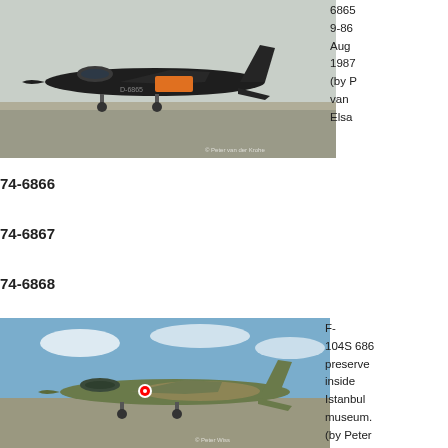[Figure (photo): F-104 Starfighter jet aircraft in dark camouflage paint with orange marking on tarmac, side profile view. Watermark: © Peter van der Krohe]
6865
9-86
Aug
1987
(by P
van 
Elsa
74-6866
74-6867
74-6868
[Figure (photo): F-104S Starfighter jet aircraft in olive/tan camouflage preserved on display at Istanbul museum. Watermark: © Peter Wiss]
F-
104S 686
preserve
inside
Istanbul
museum.
(by Peter